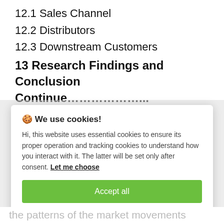12.1 Sales Channel
12.2 Distributors
12.3 Downstream Customers
13 Research Findings and Conclusion Continue………………..
[Figure (screenshot): Cookie consent dialog box with title '🍪 We use cookies!', body text about essential and tracking cookies, a 'Let me choose' link, an 'Accept all' green button, and a 'Reject all' grey button.]
the patterns of the market movements